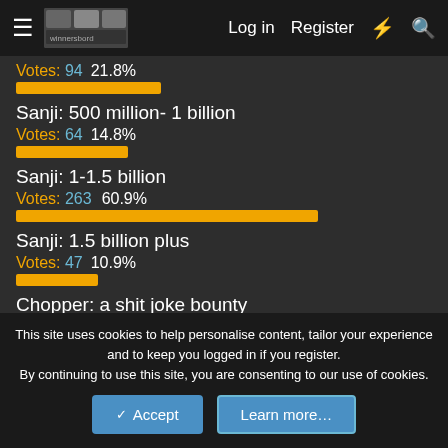Log in  Register
Votes: 94  21.8%
[Figure (bar-chart): Sanji: 500 million- 1 billion]
Sanji: 500 million- 1 billion
Votes: 64  14.8%
Sanji: 1-1.5 billion
Votes: 263  60.9%
Sanji: 1.5 billion plus
Votes: 47  10.9%
Chopper: a shit joke bounty
Votes: 198  45.8%
This site uses cookies to help personalise content, tailor your experience and to keep you logged in if you register.
By continuing to use this site, you are consenting to our use of cookies.